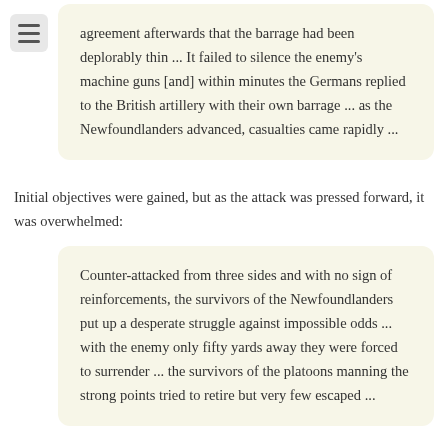agreement afterwards that the barrage had been deplorably thin ... It failed to silence the enemy's machine guns [and] within minutes the Germans replied to the British artillery with their own barrage ... as the Newfoundlanders advanced, casualties came rapidly ...
Initial objectives were gained, but as the attack was pressed forward, it was overwhelmed:
Counter-attacked from three sides and with no sign of reinforcements, the survivors of the Newfoundlanders put up a desperate struggle against impossible odds ... with the enemy only fifty yards away they were forced to surrender ... the survivors of the platoons manning the strong points tried to retire but very few escaped ...